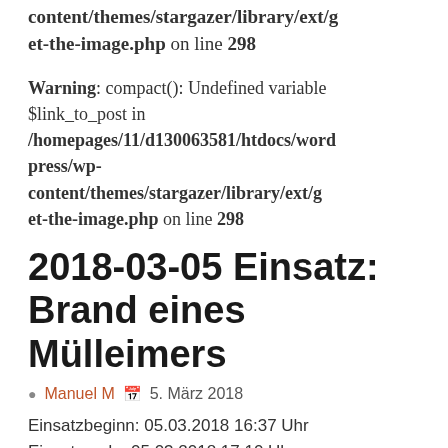content/themes/stargazer/library/ext/get-the-image.php on line 298
Warning: compact(): Undefined variable $link_to_post in /homepages/11/d130063581/htdocs/wordpress/wp-content/themes/stargazer/library/ext/get-the-image.php on line 298
2018-03-05 Einsatz: Brand eines Mülleimers
Manuel M  5. März 2018
Einsatzbeginn: 05.03.2018 16:37 Uhr
Einsatzende: 05.03.2018 17:10 Uhr